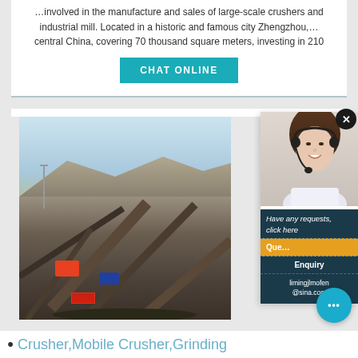…involved in the manufacture and sales of large-scale crushers and industrial mill. Located in a historic and famous city Zhengzhou,… central China, covering 70 thousand square meters, investing in 210
CHAT ONLINE
[Figure (photo): Outdoor industrial/mining site with conveyor belts and heavy machinery equipment in a desert landscape]
[Figure (photo): Customer service representative woman smiling with headset/microphone]
Have any requests, click here
Que...
Enquiry
limingjlmofen@sina.com
Crusher,Mobile Crusher,Grinding